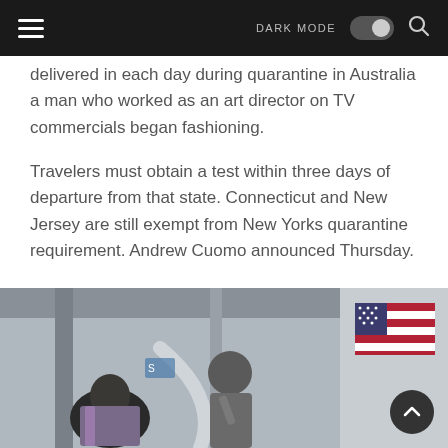DARK MODE [toggle] [search]
delivered in each day during quarantine in Australia a man who worked as an art director on TV commercials began fashioning.
Travelers must obtain a test within three days of departure from that state. Connecticut and New Jersey are still exempt from New Yorks quarantine requirement. Andrew Cuomo announced Thursday.
Air travelers wait in line to check in at McCarran International Airport in Las Vegas.
[Figure (photo): Interior of an airport or transit vehicle with passengers, American flag visible in background, person standing holding a rail, another person seated in foreground]